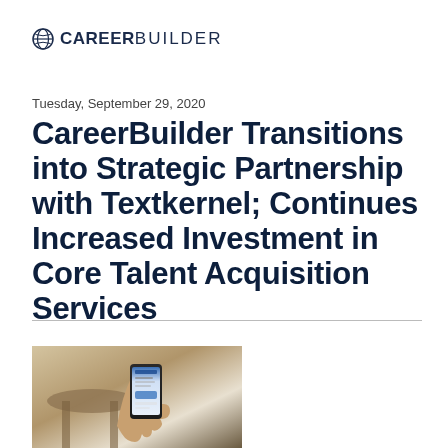[Figure (logo): CareerBuilder logo with globe icon on left, bold CAREER followed by lighter BUILDER text]
Tuesday, September 29, 2020
CareerBuilder Transitions into Strategic Partnership with Textkernel; Continues Increased Investment in Core Talent Acquisition Services
[Figure (photo): A hand holding a smartphone showing a CareerBuilder or job app screen, with a wooden stool or table in the background]